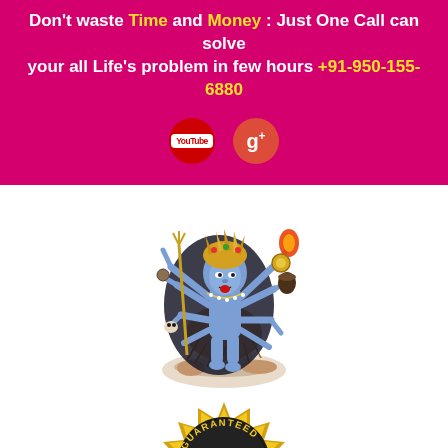Don't waste Time and Money : Just One Call can solve your all Life's problem in few hours +91-950-155-6880
[Figure (logo): YouTube logo icon (red circle with white YouTube text inside)]
[Figure (logo): Google Plus logo icon (red circle with white g+ text)]
[Figure (illustration): Illustration of a multi-armed Hindu deity (Kali) with blue skin, golden crown, multiple arms holding weapons and objects, standing on a figure, with feathered skirt]
[Figure (infographic): Gold star-burst badge with blue ribbon reading SATISFACTION, text GUARANTEED around top arc, 100% in large bold text in center, five stars below GUARANTEED]